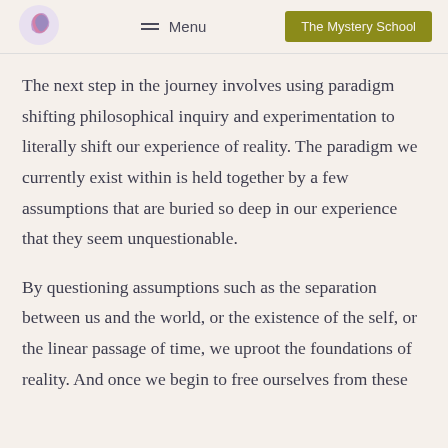Menu | The Mystery School
The next step in the journey involves using paradigm shifting philosophical inquiry and experimentation to literally shift our experience of reality. The paradigm we currently exist within is held together by a few assumptions that are buried so deep in our experience that they seem unquestionable.
By questioning assumptions such as the separation between us and the world, or the existence of the self, or the linear passage of time, we uproot the foundations of reality. And once we begin to free ourselves from these